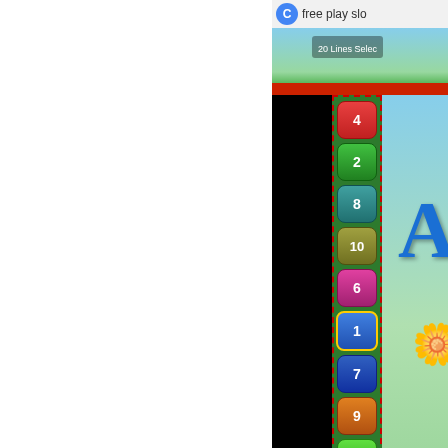[Figure (screenshot): Partial screenshot of a YouTube video embed showing a colorful slot machine game (free play slots). The right portion of the image is visible, showing a black background on the left side of the video and a green-themed slot machine interface on the right with numbered line buttons (4, 2, 8, 10, 6, 1, 7, 9, 3) in colored rounded rectangles along a vertical column bordered with a red dotted outline. The top shows partial text 'free play slo' and '20 Lines Selec' on a sky background. At the bottom is a 'Watch on YouTube' bar with the YouTube logo.]